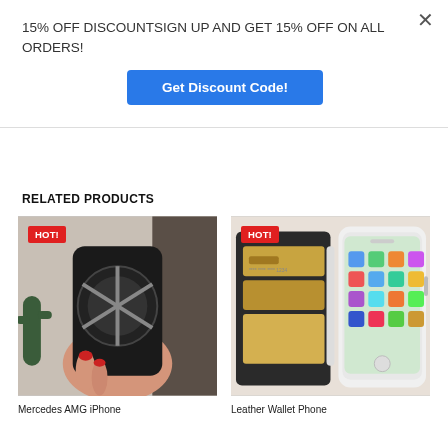15% OFF DISCOUNTSIGN UP AND GET 15% OFF ON ALL ORDERS!
Get Discount Code!
RELATED PRODUCTS
[Figure (photo): Hand holding a Mercedes AMG wheel design iPhone case with cactus in background, HOT! badge overlay]
[Figure (photo): Leather wallet phone case open showing card slots and iPhone, HOT! badge overlay]
Mercedes AMG iPhone
Leather Wallet Phone